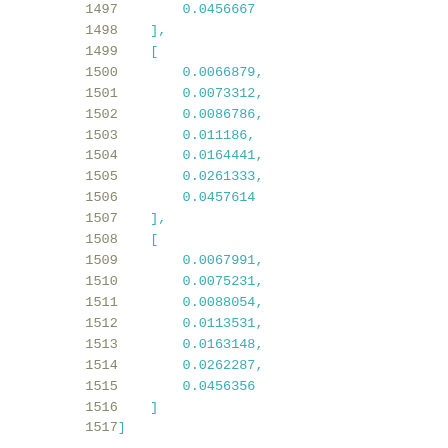Code listing lines 1497–1517 showing nested array data with floating point values: 0.0456667, ], [, 0.0066879, 0.0073312, 0.0086786, 0.011186, 0.0164441, 0.0261333, 0.0457614, ], [, 0.0067991, 0.0075231, 0.0088054, 0.0113531, 0.0163148, 0.0262287, 0.0456356, ], ]